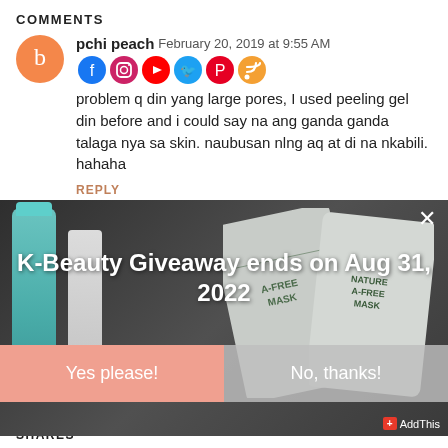COMMENTS
pchi peach   February 20, 2019 at 9:55 AM
problem q din yang large pores, I used peeling gel din before and i could say na ang ganda ganda talaga nya sa skin. naubusan nlng aq at di na nkabili. hahaha
REPLY
[Figure (photo): K-Beauty product giveaway popup overlay showing skincare products (teal bottle, white tube, nature face mask packets) on a dark background with text 'K-Beauty Giveaway ends on Aug 31, 2022' and two buttons: 'Yes please!' and 'No, thanks!']
SHARES